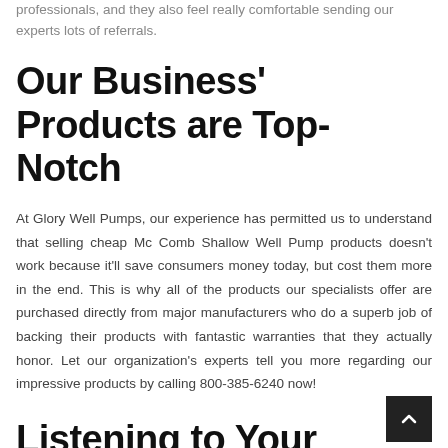professionals, and they also feel really comfortable sending our experts lots of referrals.
Our Business' Products are Top-Notch
At Glory Well Pumps, our experience has permitted us to understand that selling cheap Mc Comb Shallow Well Pump products doesn't work because it'll save consumers money today, but cost them more in the end. This is why all of the products our specialists offer are purchased directly from major manufacturers who do a superb job of backing their products with fantastic warranties that they actually honor. Let our organization's experts tell you more regarding our impressive products by calling 800-385-6240 now!
Listening to Your Needs Instead